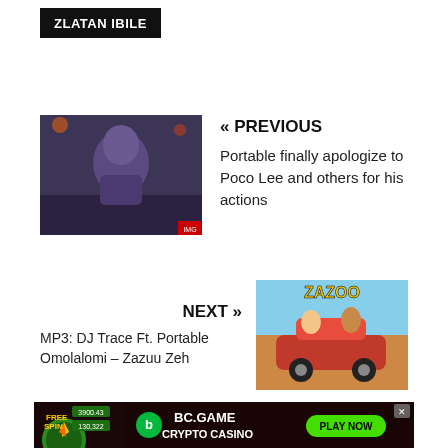ZLATAN IBILE
« PREVIOUS
Portable finally apologize to Poco Lee and others for his actions
NEXT »
MP3: DJ Trace Ft. Portable Omolalomi – Zazuu Zeh
SEARCH …
[Figure (screenshot): BC.GAME Crypto Casino advertisement banner with Free Spin offer and Play Now button]